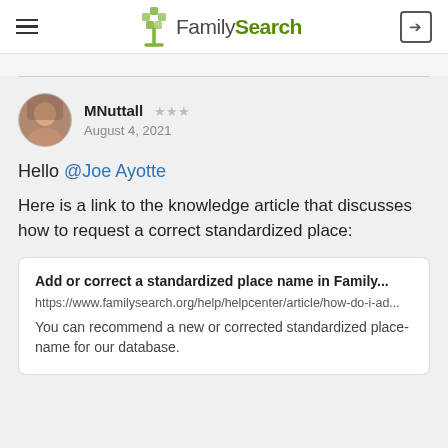FamilySearch
MNuttall ★★★
August 4, 2021
Hello @Joe Ayotte
Here is a link to the knowledge article that discusses how to request a correct standardized place:
Add or correct a standardized place name in Family...
https://www.familysearch.org/help/helpcenter/article/how-do-i-ad...
You can recommend a new or corrected standardized place-name for our database.